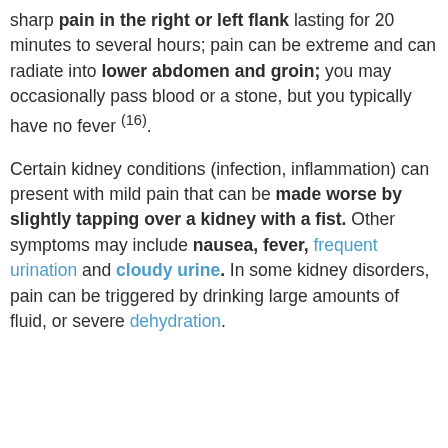sharp pain in the right or left flank lasting for 20 minutes to several hours; pain can be extreme and can radiate into lower abdomen and groin; you may occasionally pass blood or a stone, but you typically have no fever (16).
Certain kidney conditions (infection, inflammation) can present with mild pain that can be made worse by slightly tapping over a kidney with a fist. Other symptoms may include nausea, fever, frequent urination and cloudy urine. In some kidney disorders, pain can be triggered by drinking large amounts of fluid, or severe dehydration.